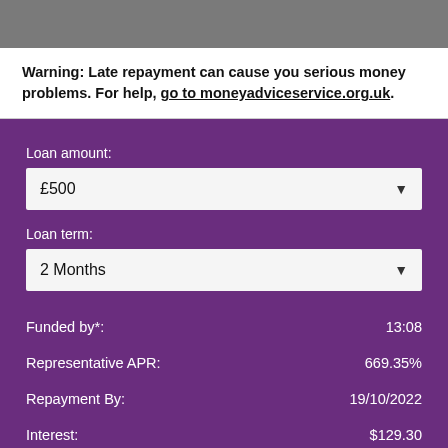Warning: Late repayment can cause you serious money problems. For help, go to moneyadviceservice.org.uk.
Loan amount:
£500
Loan term:
2 Months
| Label | Value |
| --- | --- |
| Funded by*: | 13:08 |
| Representative APR: | 669.35% |
| Repayment By: | 19/10/2022 |
| Interest: | $129.30 |